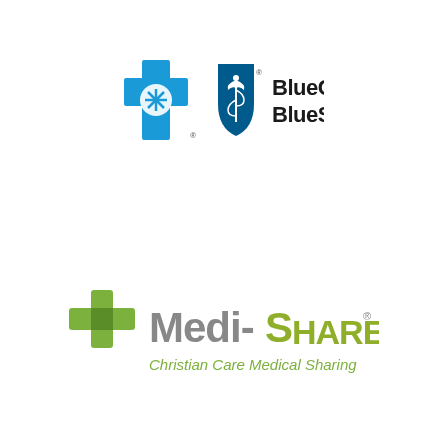[Figure (logo): BlueCross BlueShield logo with blue cross icon, blue shield with caduceus icon, and bold black text 'BlueCross BlueShield']
[Figure (logo): Medi-Share logo with green cross icon and text 'Medi-SHARE Christian Care Medical Sharing']